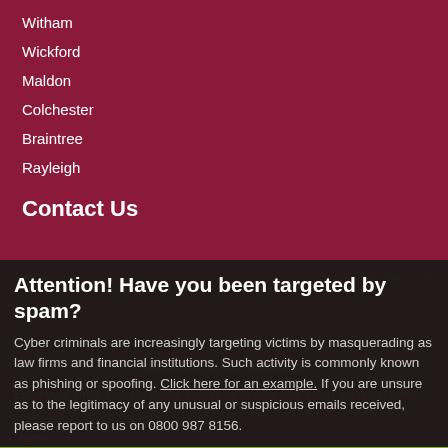Witham
Wickford
Maldon
Colchester
Braintree
Rayleigh
Contact Us
Attention! Have you been targeted by spam?
Cyber criminals are increasingly targeting victims by masquerading as law firms and financial institutions. Such activity is commonly known as phishing or spoofing. Click here for an example. If you are unsure as to the legitimacy of any unusual or suspicious emails received, please report to us on 0800 987 8156.
DISMISS